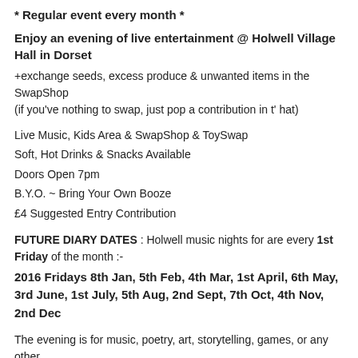* Regular event every month *
Enjoy an evening of live entertainment @ Holwell Village Hall in Dorset
+exchange seeds, excess produce & unwanted items in the SwapShop
(if you've nothing to swap, just pop a contribution in t' hat)
Live Music, Kids Area & SwapShop & ToySwap
Soft, Hot Drinks & Snacks Available
Doors Open 7pm
B.Y.O. ~ Bring Your Own Booze
£4 Suggested Entry Contribution
FUTURE DIARY DATES : Holwell music nights for are every 1st Friday of the month :-
2016 Fridays 8th Jan, 5th Feb, 4th Mar, 1st April, 6th May, 3rd June, 1st July, 5th Aug, 2nd Sept, 7th Oct, 4th Nov, 2nd Dec
The evening is for music, poetry, art, storytelling, games, or any other